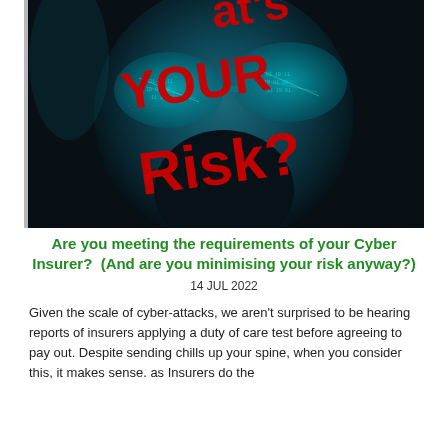[Figure (photo): Dark atmospheric photo of a person's face partially obscured in shadow with blue-teal lighting. Large bold red text overlaid on the image reads "What's YOUR Risk?" in a dramatic diagonal/tilted layout.]
Are you meeting the requirements of your Cyber Insurer?  (And are you minimising your risk anyway?)
14 JUL 2022
Given the scale of cyber-attacks, we aren't surprised to be hearing reports of insurers applying a duty of care test before agreeing to pay out. Despite sending chills up your spine, when you consider this, it makes sense. as Insurers do the